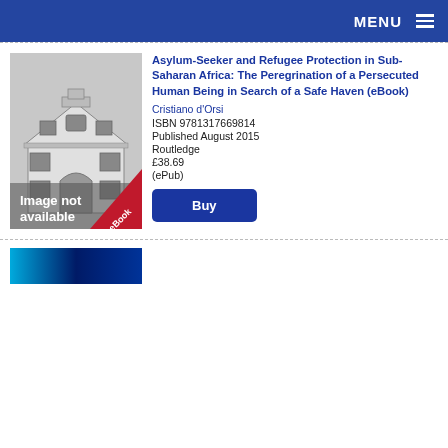MENU
[Figure (illustration): Book cover placeholder showing a building illustration with 'Image not available' text and an eBook ribbon badge]
Asylum-Seeker and Refugee Protection in Sub-Saharan Africa: The Peregrination of a Persecuted Human Being in Search of a Safe Haven (eBook)
Cristiano d'Orsi
ISBN 9781317669814
Published August 2015
Routledge
£38.69
(ePub)
Buy